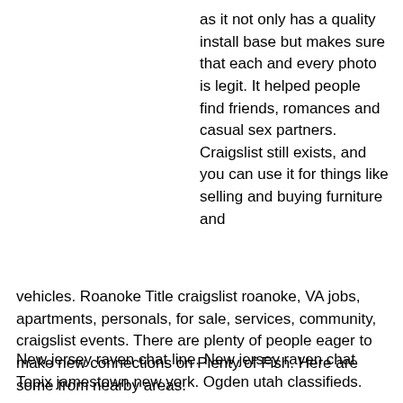as it not only has a quality install base but makes sure that each and every photo is legit. It helped people find friends, romances and casual sex partners. Craigslist still exists, and you can use it for things like selling and buying furniture and vehicles. Roanoke Title craigslist roanoke, VA jobs, apartments, personals, for sale, services, community, craigslist events. There are plenty of people eager to make new connections on Plenty of Fish. Here are some from nearby areas.
New jersey raven chat line. New jersey raven chat Topix jamestown new york. Ogden utah classifieds.